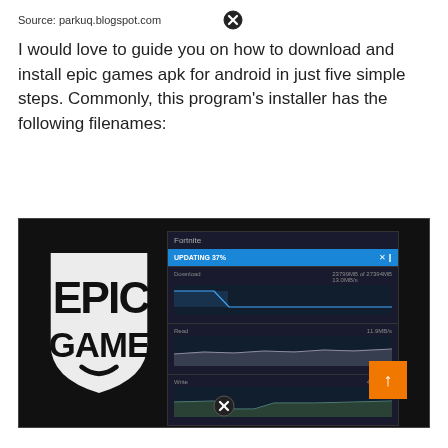Source: parkuq.blogspot.com
I would love to guide you on how to download and install epic games apk for android in just five simple steps. Commonly, this program's installer has the following filenames:
[Figure (screenshot): Screenshot showing Epic Games logo on left with dark background, and a Fortnite game installer panel on right showing a blue progress bar reading 'UPDATING 37%', with three performance graphs (Download, Read, Write) below it. An orange up-arrow button is visible in the bottom-right corner. Two close (X) buttons appear at top and bottom of the overall image overlay.]